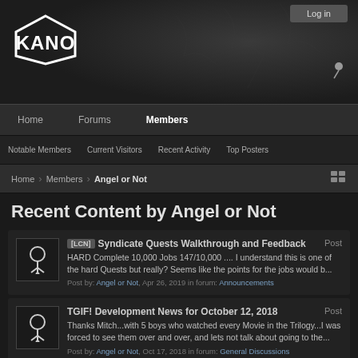[Figure (logo): KANO logo in white diamond shape on dark banner with zombie/fantasy artwork background]
Log in
Home | Forums | Members
Notable Members | Current Visitors | Recent Activity | Top Posters
Home > Members > Angel or Not
Recent Content by Angel or Not
[LCN] Syndicate Quests Walkthrough and Feedback
Post
HARD Complete 10,000 Jobs 147/10,000 .... I understand this is one of the hard Quests but really? Seems like the points for the jobs would b...
Post by: Angel or Not, Apr 26, 2019 in forum: Announcements
TGIF! Development News for October 12, 2018
Post
Thanks Mitch...with 5 boys who watched every Movie in the Trilogy...I was forced to see them over and over, and lets not talk about going to the...
Post by: Angel or Not, Oct 17, 2018 in forum: General Discussions